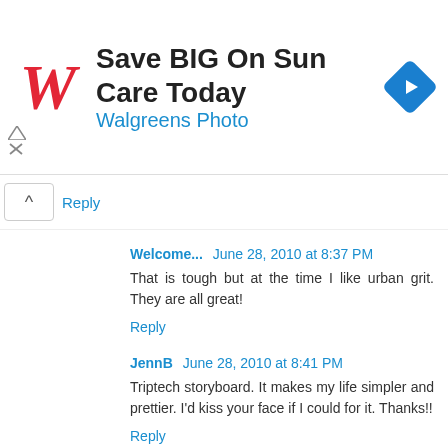[Figure (screenshot): Walgreens advertisement banner: red cursive W logo, text 'Save BIG On Sun Care Today' and 'Walgreens Photo', blue diamond navigation icon, and ad close controls]
Reply
Welcome...  June 28, 2010 at 8:37 PM
That is tough but at the time I like urban grit. They are all great!
Reply
JennB  June 28, 2010 at 8:41 PM
Triptech storyboard. It makes my life simpler and prettier. I'd kiss your face if I could for it. Thanks!!
Reply
Anonymous  June 28, 2010 at 8:51 PM